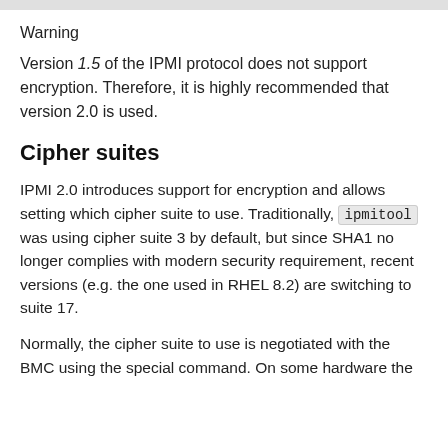Warning
Version 1.5 of the IPMI protocol does not support encryption. Therefore, it is highly recommended that version 2.0 is used.
Cipher suites
IPMI 2.0 introduces support for encryption and allows setting which cipher suite to use. Traditionally, ipmitool was using cipher suite 3 by default, but since SHA1 no longer complies with modern security requirement, recent versions (e.g. the one used in RHEL 8.2) are switching to suite 17.
Normally, the cipher suite to use is negotiated with the BMC using the special command. On some hardware the negotiation might be not compliant and IPMI